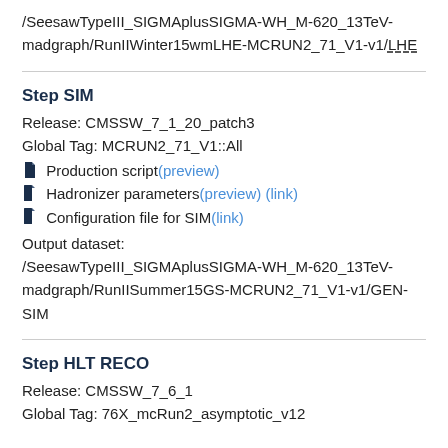/SeesawTypeIII_SIGMAplusSIGMA-WH_M-620_13TeV-madgraph/RunIIWinter15wmLHE-MCRUN2_71_V1-v1/LHE
Step SIM
Release: CMSSW_7_1_20_patch3
Global Tag: MCRUN2_71_V1::All
Production script (preview)
Hadronizer parameters (preview) (link)
Configuration file for SIM (link)
Output dataset: /SeesawTypeIII_SIGMAplusSIGMA-WH_M-620_13TeV-madgraph/RunIISummer15GS-MCRUN2_71_V1-v1/GEN-SIM
Step HLT RECO
Release: CMSSW_7_6_1
Global Tag: 76X_mcRun2_asymptotic_v12